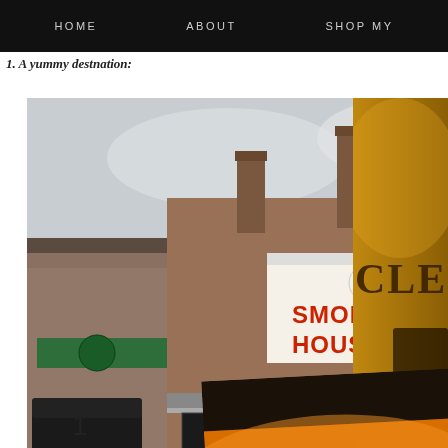HOME   ABOUT   SHOP MY
1. A yummy destnation:
[Figure (photo): Exterior photo of a brick building with a Smoke House sign featuring a pig logo; parking lot in foreground, another building visible to the left with green awning.]
[Figure (photo): Partially visible photo on right edge showing golden/amber interior with text 'CLE' visible, appears to be a restaurant interior.]
[Figure (photo): Lower right photo showing 'peel' branding with 'WOOD FIRED PIZZA' text on orange/gold background, appears to be a restaurant sign or logo. Number 3 below it.]